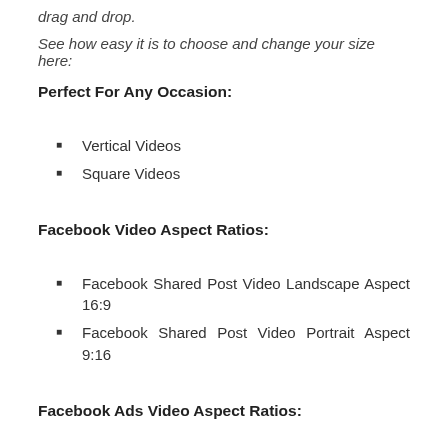drag and drop.
See how easy it is to choose and change your size here:
Perfect For Any Occasion:
Vertical Videos
Square Videos
Facebook Video Aspect Ratios:
Facebook Shared Post Video Landscape Aspect 16:9
Facebook Shared Post Video Portrait Aspect 9:16
Facebook Ads Video Aspect Ratios: